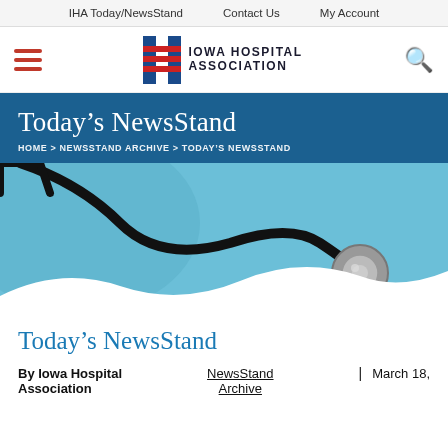IHA Today/NewsStand   Contact Us   My Account
[Figure (logo): Iowa Hospital Association logo with stylized H containing American flag stripes and text 'Iowa Hospital Association']
Today's NewsStand
HOME > NEWSSTAND ARCHIVE > TODAY'S NEWSSTAND
[Figure (photo): Close-up photo of a stethoscope on a light blue background]
Today's NewsStand
By Iowa Hospital Association | NewsStand Archive | March 18,